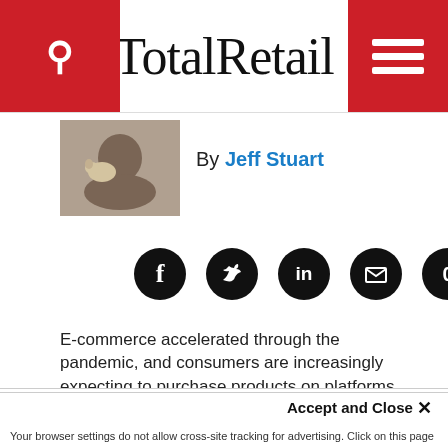TotalRetail
By Jeff Stuart
[Figure (illustration): Author photo of Jeff Stuart holding a small dog]
[Figure (infographic): Social sharing icons: Facebook, Twitter, LinkedIn, Email, 0 shares]
E-commerce accelerated through the pandemic, and consumers are increasingly expecting to purchase products on platforms they already use
This site uses cookies for tracking purposes. By continuing to browse our website, you agree to the storing of first- and third-party cookies on your device to enhance site navigation, analyze site usage, and assist in our marketing and
Accept and Close ✕
Your browser settings do not allow cross-site tracking for advertising. Click on this page to allow AdRoll to use cross-site tracking to tailor ads to you. Learn more or opt out of this AdRoll tracking by clicking here. This message only appears once.